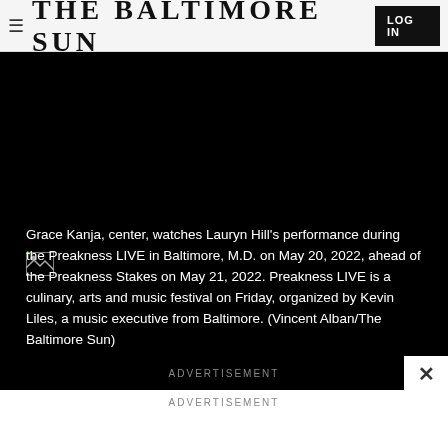THE BALTIMORE SUN
[Figure (photo): Black background image area with broken image icon in lower left]
Grace Kanja, center, watches Lauryn Hill's performance during the Preakness LIVE in Baltimore, M.D. on May 20, 2022, ahead of the Preakness Stakes on May 21, 2022. Preakness LIVE is a culinary, arts and music festival on Friday, organized by Kevin Liles, a music executive from Baltimore. (Vincent Alban/The Baltimore Sun)
ADVERTISEMENT
ADVERTISEMENT